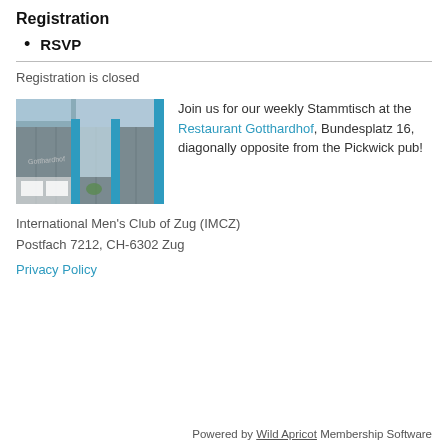Registration
RSVP
Registration is closed
[Figure (photo): Exterior photo of Restaurant Gotthardhof showing glass facade with turquoise accents and white-tablecloth seating visible inside]
Join us for our weekly Stammtisch at the Restaurant Gotthardhof, Bundesplatz 16, diagonally opposite from the Pickwick pub!
International Men's Club of Zug (IMCZ)
Postfach 7212, CH-6302 Zug
Privacy Policy
Powered by Wild Apricot Membership Software